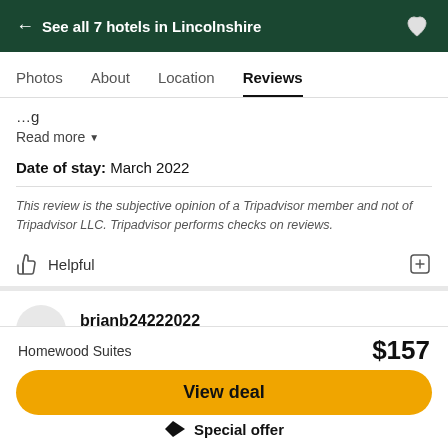← See all 7 hotels in Lincolnshire
Photos   About   Location   Reviews
Read more ▾
Date of stay: March 2022
This review is the subjective opinion of a Tripadvisor member and not of Tripadvisor LLC. Tripadvisor performs checks on reviews.
Helpful
brianb24222022
wrote a review Feb 2022
Homewood Suites   $157
View deal
Special offer